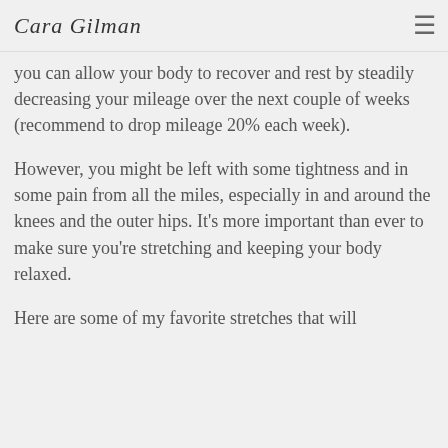Cara Gilman
you can allow your body to recover and rest by steadily decreasing your mileage over the next couple of weeks (recommend to drop mileage 20% each week).
However, you might be left with some tightness and in some pain from all the miles, especially in and around the knees and the outer hips. It's more important than ever to make sure you're stretching and keeping your body relaxed.
Here are some of my favorite stretches that will